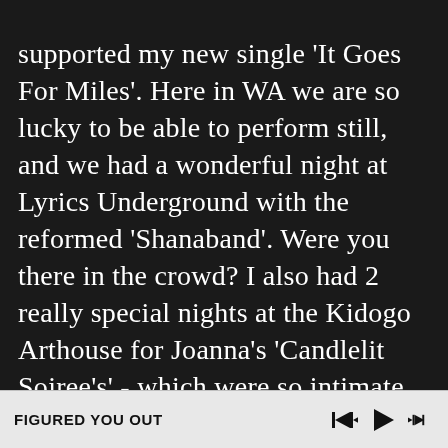supported my new single 'It Goes For Miles'. Here in WA we are so lucky to be able to perform still, and we had a wonderful night at Lyrics Underground with the reformed 'Shanaband'. Were you there in the crowd? I also had 2 really special nights at the Kidogo Arthouse for Joanna's 'Candlelit Soiree's' - which were so intimate and filled with delicious food and the calming sounds of the
FIGURED YOU OUT